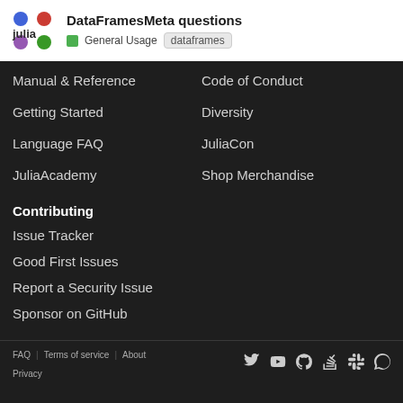DataFramesMeta questions | General Usage | dataframes
Manual & Reference
Code of Conduct
Getting Started
Diversity
Language FAQ
JuliaCon
JuliaAcademy
Shop Merchandise
Contributing
Issue Tracker
Good First Issues
Report a Security Issue
Sponsor on GitHub
FAQ | Terms of service | About | Privacy